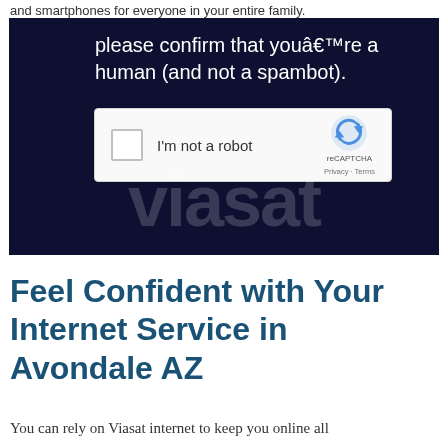and smartphones for everyone in your entire family.
[Figure (screenshot): Dark navy background with reCAPTCHA widget. Text reads 'please confirm that youâ€™re a human (and not a spambot).' with a reCAPTCHA checkbox widget showing 'I'm not a robot' and reCAPTCHA branding logo, Privacy and Terms links. Faint Viasat logo watermark in background.]
Feel Confident with Your Internet Service in Avondale AZ
You can rely on Viasat internet to keep you online all